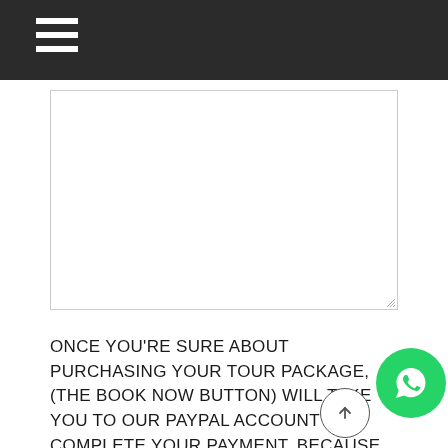[Figure (other): Empty textarea/text input box with resize handle in bottom-right corner]
ONCE YOU'RE SURE ABOUT PURCHASING YOUR TOUR PACKAGE, (THE BOOK NOW BUTTON) WILL TAKE YOU TO OUR PAYPAL ACCOUNT TO COMPLETE YOUR PAYMENT, BECAUSE IT'S HARD FOR OUR